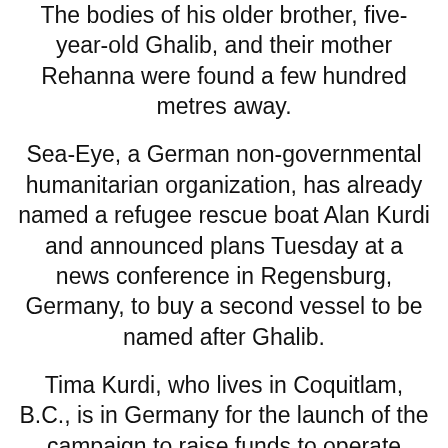The bodies of his older brother, five-year-old Ghalib, and their mother Rehanna were found a few hundred metres away.
Sea-Eye, a German non-governmental humanitarian organization, has already named a refugee rescue boat Alan Kurdi and announced plans Tuesday at a news conference in Regensburg, Germany, to buy a second vessel to be named after Ghalib.
Tima Kurdi, who lives in Coquitlam, B.C., is in Germany for the launch of the campaign to raise funds to operate rescue boats.
She is also the author of a book about the tragic events called The Boy on the Beach. She says the situation for refugees